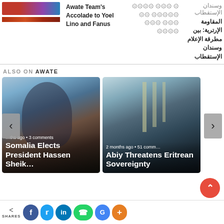[Figure (photo): Photo of people, partially visible at top left]
Awate Team's Accolade to Yoel Lino and Fanus
Arabic text (right-to-left script)
وسندان الإستقطاب
المقاومة الإرترية: بين مطرقة الإعلام وسندان الإستقطاب
ALSO ON AWATE
[Figure (photo): Photo card: Somalia Elects President Hassen Sheik... — 3 comments]
[Figure (photo): Photo card: Abiy Threatens Eritrean Sovereignty — 51 comments]
SHARES | Facebook | Twitter | LinkedIn | WhatsApp | Google+ | More